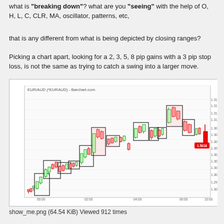what is "breaking down"? what are you "seeing" with the help of O, H, L, C, CLR, MA, oscillator, patterns, etc,
that is any different from what is being depicted by closing ranges?
Picking a chart apart, looking for a 2, 3, 5, 8 pip gains with a 3 pip stop loss, is not the same as trying to catch a swing into a larger move.
[Figure (continuous-plot): EUR/AUD candlestick chart from Barchart.com showing price action with rectangular groupings highlighting swing moves. Chart shows an uptrend from approximately 1.3000 to 1.3128 with time axis showing intervals from 00:00 to 10:00. Current price label shows 1.5018 in red. Y-axis ranges from approximately 1.3000 to 1.3140.]
show_me.png (64.54 KiB) Viewed 912 times